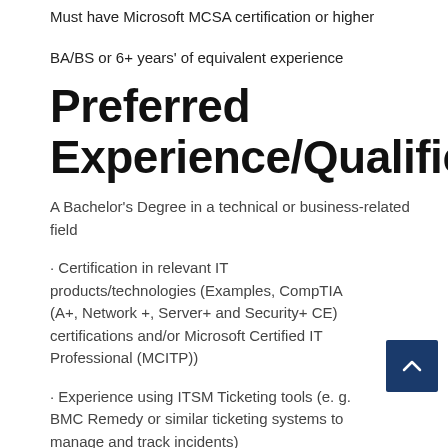Must have Microsoft MCSA certification or higher
BA/BS or 6+ years' of equivalent experience
Preferred Experience/Qualifications
A Bachelor's Degree in a technical or business-related field
· Certification in relevant IT products/technologies (Examples, CompTIA (A+, Network +, Server+ and Security+ CE) certifications and/or Microsoft Certified IT Professional (MCITP))
· Experience using ITSM Ticketing tools (e. g. BMC Remedy or similar ticketing systems to manage and track incidents)
· Experience managing users and mailboxes in